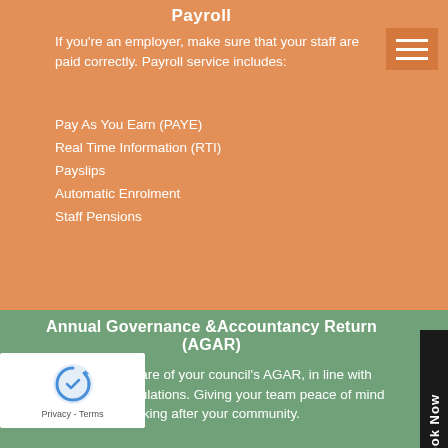Payroll
If you're an employer, make sure that your staff are paid correctly. Payroll service includes:
Pay As You Earn (PAYE)
Real Time Information (RTI)
Payslips
Automatic Enrolment
Staff Pensions
Annual Governance &Accountancy Return (AGAR)
We can take care of your council's AGAR, in line with up-to-date regulations. Giving your team peace of mind to focus on looking after your community.
Cloud Accounts Setup
More and more town and parish councils are now turning to cloud accounting solutions.
Setting up your account to get the most out it can be daunting but we can take the stress out of it for you. Let Rosevale Accountants get you you ready to ground running with your cloud accounts. We can prepare you and give you guidance so you are ready to manage your finances, expenses, bank reconciliation and instantly share your data with